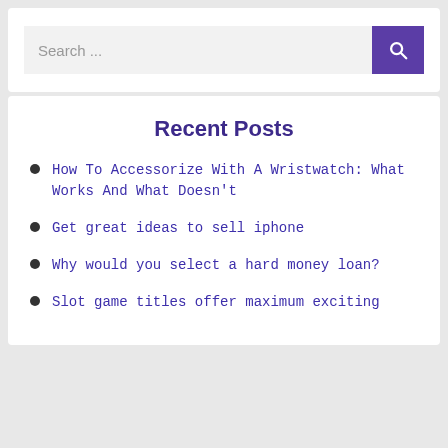[Figure (screenshot): Search bar with text input field showing 'Search ...' placeholder and a purple search button with magnifying glass icon]
Recent Posts
How To Accessorize With A Wristwatch: What Works And What Doesn't
Get great ideas to sell iphone
Why would you select a hard money loan?
Slot game titles offer maximum exciting